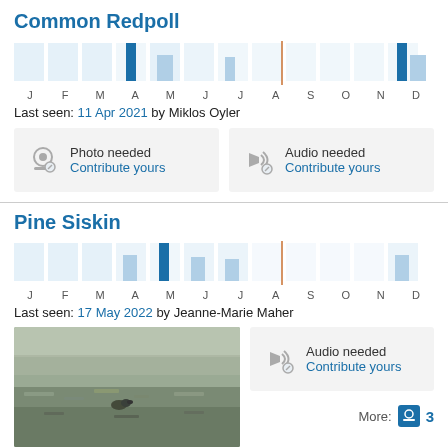Common Redpoll
[Figure (bar-chart): Sighting frequency by month - Common Redpoll]
Last seen: 11 Apr 2021 by Miklos Oyler
Photo needed
Contribute yours
Audio needed
Contribute yours
Pine Siskin
[Figure (bar-chart): Sighting frequency by month - Pine Siskin]
Last seen: 17 May 2022 by Jeanne-Marie Maher
[Figure (photo): Bird photo - Pine Siskin on ground]
© Jeanne-Marie Maher
Audio needed
Contribute yours
More: 3